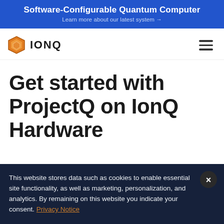Software-Configurable Quantum Computer
Learn more about our latest system →
[Figure (logo): IonQ hexagonal logo icon in orange/gold color followed by IONQ text in bold dark letters]
Get started with ProjectQ on IonQ Hardware
This website stores data such as cookies to enable essential site functionality, as well as marketing, personalization, and analytics. By remaining on this website you indicate your consent. Privacy Notice